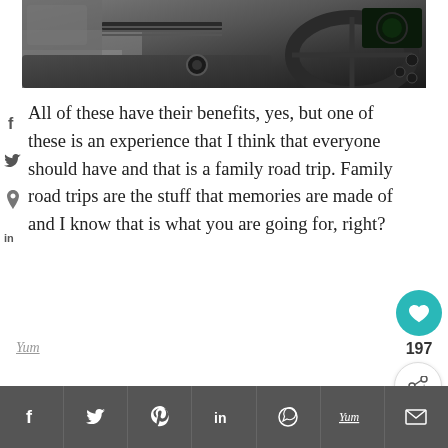[Figure (photo): Interior view of a car dashboard and steering wheel from driver perspective, dark tones]
All of these have their benefits, yes, but one of these is an experience that I think that everyone should have and that is a family road trip. Family road trips are the stuff that memories are made of and I know that is what you are going for, right?
Yum
[Figure (infographic): Bottom share bar with social media buttons: Facebook, Twitter, Pinterest, LinkedIn, WhatsApp, Yummly, Email]